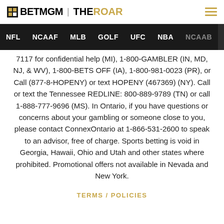BETMGM | THEROAR
NFL  NCAAF  MLB  GOLF  UFC  NBA  NCAAB
7117 for confidential help (MI), 1-800-GAMBLER (IN, MD, NJ, & WV), 1-800-BETS OFF (IA), 1-800-981-0023 (PR), or Call (877-8-HOPENY) or text HOPENY (467369) (NY). Call or text the Tennessee REDLINE: 800-889-9789 (TN) or call 1-888-777-9696 (MS). In Ontario, if you have questions or concerns about your gambling or someone close to you, please contact ConnexOntario at 1-866-531-2600 to speak to an advisor, free of charge. Sports betting is void in Georgia, Hawaii, Ohio and Utah and other states where prohibited. Promotional offers not available in Nevada and New York.
TERMS / POLICIES